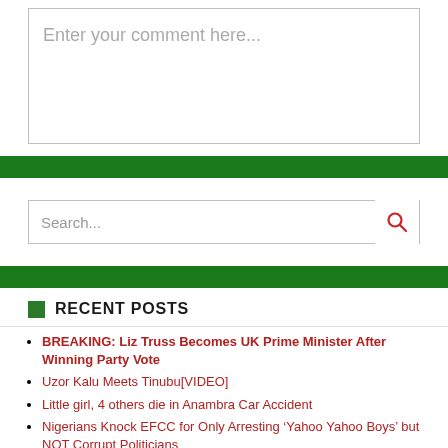Enter your comment here...
Search...
RECENT POSTS
BREAKING: Liz Truss Becomes UK Prime Minister After Winning Party Vote
Uzor Kalu Meets Tinubu[VIDEO]
Little girl, 4 others die in Anambra Car Accident
Nigerians Knock EFCC for Only Arresting 'Yahoo Yahoo Boys' but NOT Corrupt Politicians
2023: Peter Obi Releases Blueprint to Tackle Insecurity
It is “pure Witchcraft” NOT to support Peter Obi- Osita